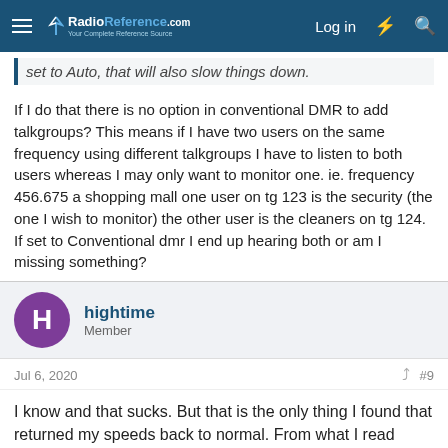RadioReference.com — Log in
set to Auto, that will also slow things down.
If I do that there is no option in conventional DMR to add talkgroups? This means if I have two users on the same frequency using different talkgroups I have to listen to both users whereas I may only want to monitor one. ie. frequency 456.675 a shopping mall one user on tg 123 is the security (the one I wish to monitor) the other user is the cleaners on tg 124. If set to Conventional dmr I end up hearing both or am I missing something?
hightime
Member
Jul 6, 2020
#9
I know and that sucks. But that is the only thing I found that returned my speeds back to normal. From what I read Uniden knows about it and will fix it some time on an update.